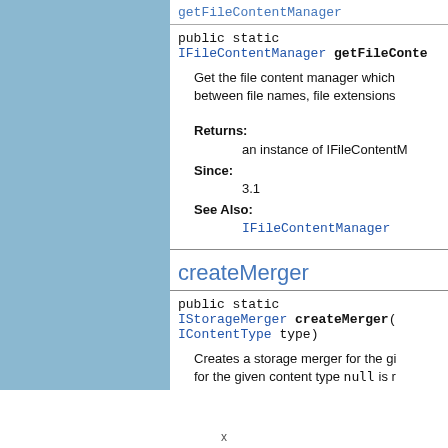getFileContentManager
public static
IFileContentManager getFileContentManager
Get the file content manager which ... between file names, file extensions...
Returns:
    an instance of IFileContentManager
Since:
    3.1
See Also:
    IFileContentManager
createMerger
public static
IStorageMerger createMerger(
IContentType type)
Creates a storage merger for the gi... for the given content type null is r...